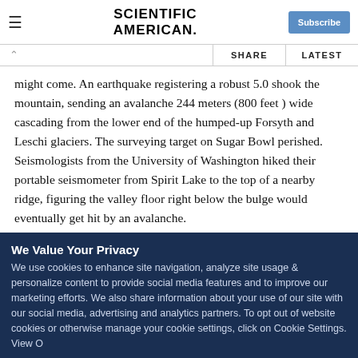SCIENTIFIC AMERICAN
might come. An earthquake registering a robust 5.0 shook the mountain, sending an avalanche 244 meters (800 feet ) wide cascading from the lower end of the humped-up Forsyth and Leschi glaciers. The surveying target on Sugar Bowl perished. Seismologists from the University of Washington hiked their portable seismometer from Spirit Lake to the top of a nearby ridge, figuring the valley floor right below the bulge would eventually get hit by an avalanche.
We Value Your Privacy
We use cookies to enhance site navigation, analyze site usage & personalize content to provide social media features and to improve our marketing efforts. We also share information about your use of our site with our social media, advertising and analytics partners. To opt out of website cookies or otherwise manage your cookie settings, click on Cookie Settings. View O...